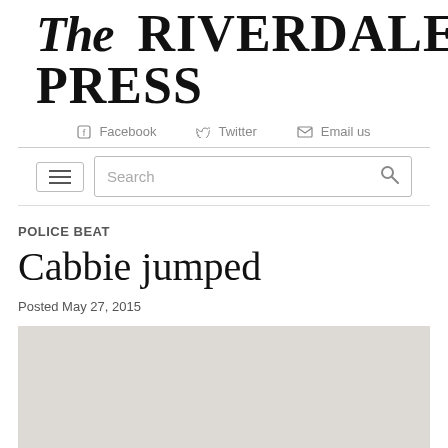The RIVERDALE PRESS
Facebook  Twitter  Email us
POLICE BEAT
Cabbie jumped
Posted May 27, 2015
[Figure (photo): Gray placeholder image area below article header]